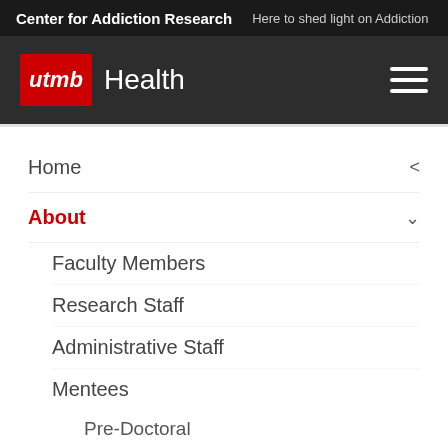Center for Addiction Research   Here to shed light on Addiction
[Figure (logo): UTMB Health logo with red box containing italic 'utmb' text and white 'Health' text beside it, on dark background with hamburger menu icon]
Home
About
Faculty Members
Research Staff
Administrative Staff
Mentees
Pre-Doctoral
Post-Doctoral
Rotating